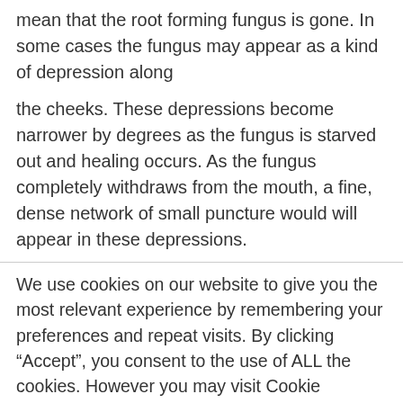mean that the root forming fungus is gone. In some cases the fungus may appear as a kind of depression along
the cheeks. These depressions become narrower by degrees as the fungus is starved out and healing occurs. As the fungus completely withdraws from the mouth, a fine, dense network of small puncture would will appear in these depressions.
We use cookies on our website to give you the most relevant experience by remembering your preferences and repeat visits. By clicking “Accept”, you consent to the use of ALL the cookies. However you may visit Cookie Settings to provide a controlled consent.
Cookie settings    ACCEPT